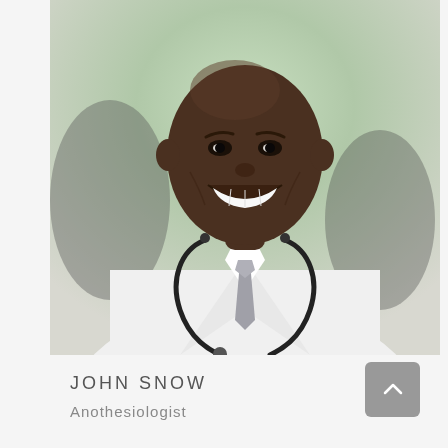[Figure (photo): Smiling male doctor wearing a white lab coat, grey tie, and stethoscope around his neck, photographed against a blurred light background]
JOHN SNOW
Anothesiologist